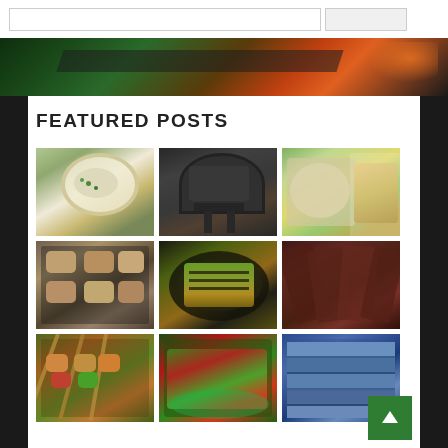[Figure (screenshot): Top navigation bar with search input field and button]
[Figure (photo): Hero banner image showing a barbecue grill with dark background, road/track and orange glow]
FEATURED POSTS
[Figure (photo): Grid of 9 food photos: soup bowl, outdoor grill, food platter, meat nuggets on grill, grilled vegetables in pan, sliced smoked meat, chicken skewers, green salad with tomatoes, stack of books/magazines]
[Figure (other): Green scroll-to-top arrow button in bottom right corner]